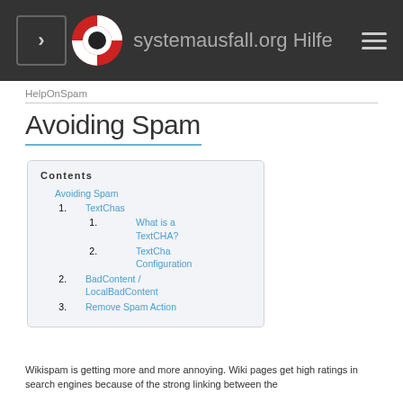systemausfall.org Hilfe
HelpOnSpam
Avoiding Spam
| Contents |
| --- |
| 1. Avoiding Spam |
| 1. TextChas |
| 1. What is a TextCHA? |
| 2. TextCha Configuration |
| 2. BadContent / LocalBadContent |
| 3. Remove Spam Action |
Wikispam is getting more and more annoying. Wiki pages get high ratings in search engines because of the strong linking between the